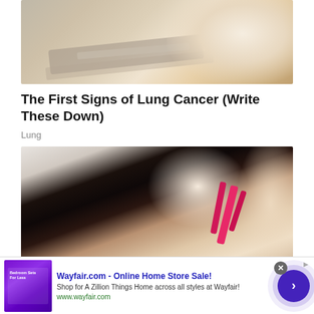[Figure (photo): Close-up photo of an armpit or skin area with light/shadow contrast, appears to be a medical or health-related image]
The First Signs of Lung Cancer (Write These Down)
Lung
[Figure (photo): Photo of a young woman with dark hair in a ponytail, wearing a pink sports bra, looking downward, appears to be illustrating chest pain or discomfort]
Wayfair.com - Online Home Store Sale! Shop for A Zillion Things Home across all styles at Wayfair! www.wayfair.com